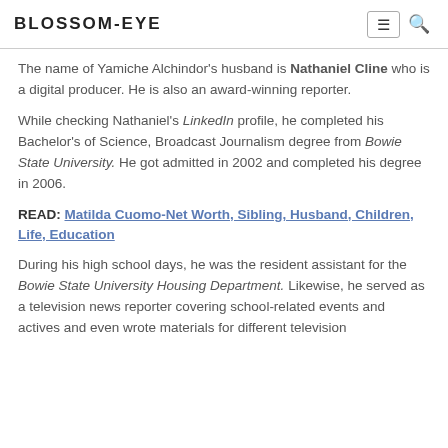BLOSSOM-EYE
The name of Yamiche Alchindor's husband is Nathaniel Cline who is a digital producer. He is also an award-winning reporter.
While checking Nathaniel's LinkedIn profile, he completed his Bachelor's of Science, Broadcast Journalism degree from Bowie State University. He got admitted in 2002 and completed his degree in 2006.
READ: Matilda Cuomo-Net Worth, Sibling, Husband, Children, Life, Education
During his high school days, he was the resident assistant for the Bowie State University Housing Department. Likewise, he served as a television news reporter covering school-related events and actives and even wrote materials for different television